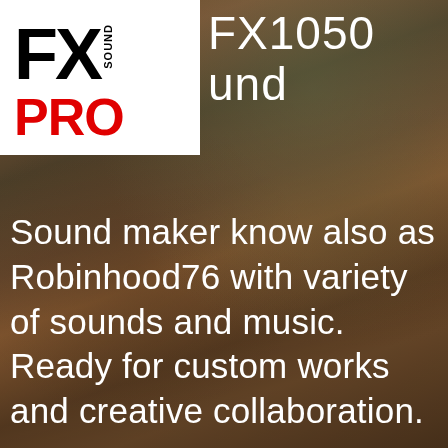[Figure (logo): FX Sound Pro logo — black bold 'FX' text with small rotated 'SOUND' text, and red bold 'PRO' text below, on white background]
FX1050 und
Sound maker know also as Robinhood76 with variety of sounds and music. Ready for custom works and creative collaboration.